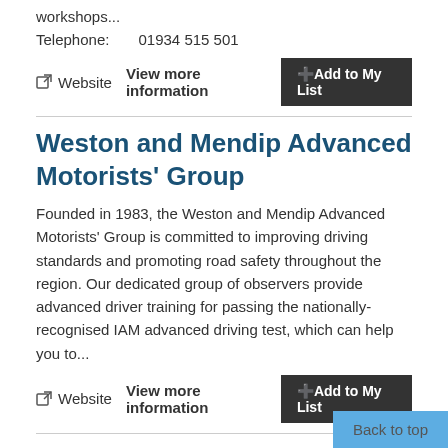workshops...
Telephone:   01934 515 501
Website  View more information  +Add to My List
Weston and Mendip Advanced Motorists' Group
Founded in 1983, the Weston and Mendip Advanced Motorists' Group is committed to improving driving standards and promoting road safety throughout the region. Our dedicated group of observers provide advanced driver training for passing the nationally-recognised IAM advanced driving test, which can help you to...
Website  View more information  +Add to My List
Weston Brass
Back to top